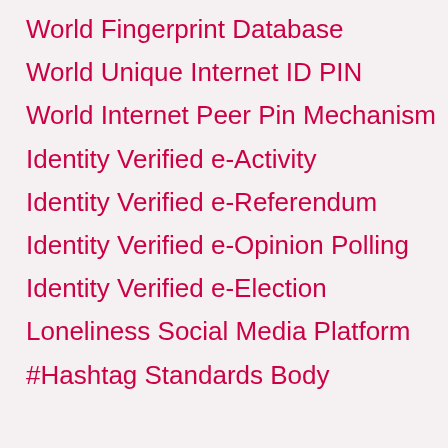World Fingerprint Database
World Unique Internet ID PIN
World Internet Peer Pin Mechanism
Identity Verified e-Activity
Identity Verified e-Referendum
Identity Verified e-Opinion Polling
Identity Verified e-Election
Loneliness Social Media Platform
#Hashtag Standards Body